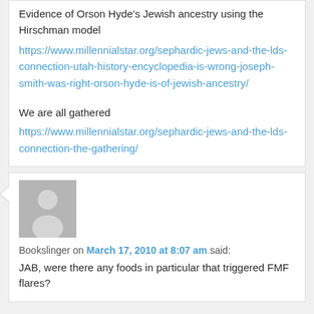Evidence of Orson Hyde's Jewish ancestry using the Hirschman model
https://www.millennialstar.org/sephardic-jews-and-the-lds-connection-utah-history-encyclopedia-is-wrong-joseph-smith-was-right-orson-hyde-is-of-jewish-ancestry/
We are all gathered
https://www.millennialstar.org/sephardic-jews-and-the-lds-connection-the-gathering/
Bookslinger on March 17, 2010 at 8:07 am said:
JAB, were there any foods in particular that triggered FMF flares?